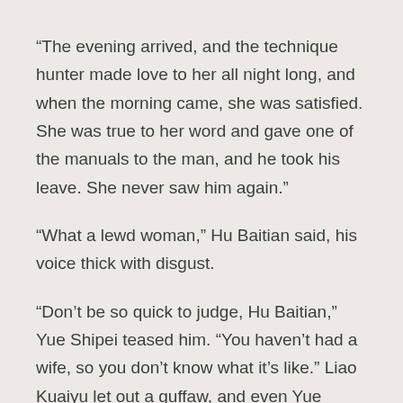“The evening arrived, and the technique hunter made love to her all night long, and when the morning came, she was satisfied. She was true to her word and gave one of the manuals to the man, and he took his leave. She never saw him again.”
“What a lewd woman,” Hu Baitian said, his voice thick with disgust.
“Don’t be so quick to judge, Hu Baitian,” Yue Shipei teased him. “You haven’t had a wife, so you don’t know what it’s like.” Liao Kuaiyu let out a guffaw, and even Yue Yaosa couldn’t keep a giggle from coming out. Hu Baitian colored visibly, but accepted the ribbing good naturedly.